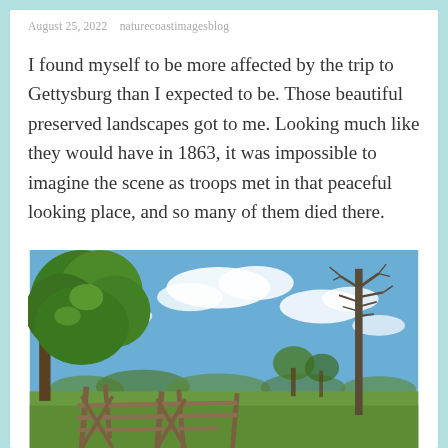August 25, 2022   naturecoastimagesblog
I found myself to be more affected by the trip to Gettysburg than I expected to be. Those beautiful preserved landscapes got to me. Looking much like they would have in 1863, it was impossible to imagine the scene as troops met in that peaceful looking place, and so many of them died there.
[Figure (photo): Outdoor landscape photo taken at Gettysburg battlefield showing large leafy green trees on the left, a bare tall tree on the right, blue sky with white puffy clouds, and a rustic split-rail wooden fence in the foreground with green rolling fields.]